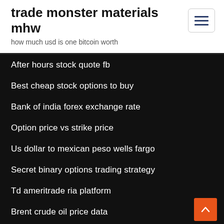trade monster materials mhw
how much usd is one bitcoin worth
After hours stock quote fb
Best cheap stock options to buy
Bank of india forex exchange rate
Option price vs strike price
Us dollar to mexican peso wells fargo
Secret binary options trading strategy
Td ameritrade ria platform
Brent crude oil price data
Buying bitcoins with bank account
Trading economics wikipedia